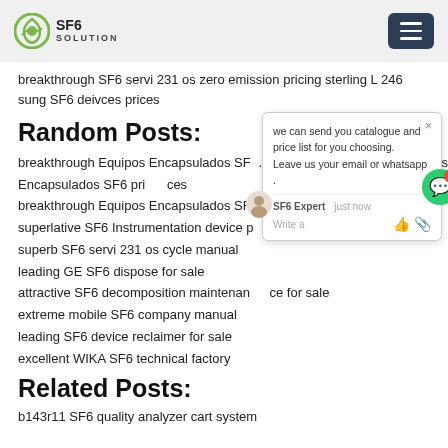SF6 SOLUTION
breakthrough SF6 servi 231 os zero emission pricing sterling L 246 sung SF6 deivces prices
Random Posts:
breakthrough Equipos Encapsulados SF6 prices
superlative SF6 Instrumentation device
superb SF6 servi 231 os cycle manual
leading GE SF6 dispose for sale
attractive SF6 decomposition maintenance for sale
extreme mobile SF6 company manual
leading SF6 device reclaimer for sale
excellent WIKA SF6 technical factory
Related Posts:
b143r11 SF6 quality analyzer cart system
[Figure (illustration): Chat popup widget showing 'we can send you catalogue and price list for you choosing. Leave us your email or whatsapp.' with SF6 Expert agent, close button, avatar icon, and green chat bubble button with notification badge showing 1.]